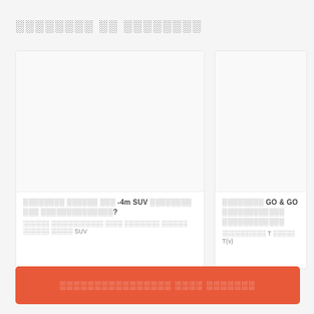░░░░░░░░ ░░ ░░░░░░░░
[Figure (screenshot): Article card with blank image area, title in Thai/regional script mentioning -4m SUV, and partial body text]
[Figure (screenshot): Article card with blank image area, title in Thai/regional script mentioning GO & GO, and partial body text]
░░░░░░░░░░░░░░░ ░░░░ ░░░░░░░
░░░░░░░░░░░░░░░░░░░░░░ ░░░░░░░░░░░░░░░░
░░░░░░ ░░░░░░░░░░░░ ░░░░ ░░░░░░░░ ░░░░░░ ░░░░░░ ░░░░░ SUV
░░░░░░░░░░ T ░░░░░ T(v)
░░░░░░░░░░░░░░░░ ░░░░ ░░░░░░░